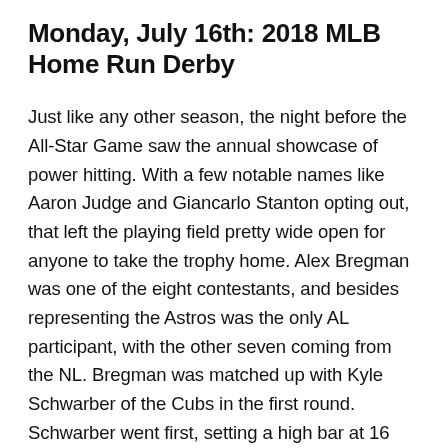Monday, July 16th: 2018 MLB Home Run Derby
Just like any other season, the night before the All-Star Game saw the annual showcase of power hitting. With a few notable names like Aaron Judge and Giancarlo Stanton opting out, that left the playing field pretty wide open for anyone to take the trophy home. Alex Bregman was one of the eight contestants, and besides representing the Astros was the only AL participant, with the other seven coming from the NL. Bregman was matched up with Kyle Schwarber of the Cubs in the first round. Schwarber went first, setting a high bar at 16 homers, including some in bonus time he was awarded for hitting two longer than 440 feet in regular time. The bonus time was the difference maker, with Bregman taking a total of